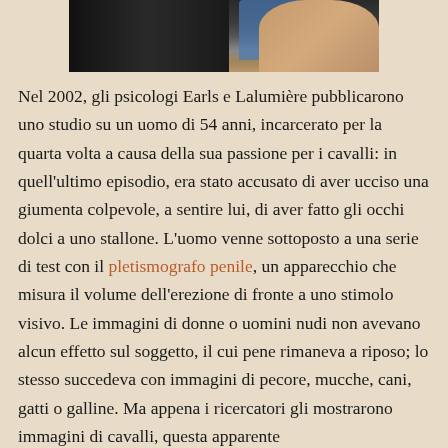[Figure (photo): Partial photo of a person's face and upper body against a blue background, cropped at the top of the page.]
Nel 2002, gli psicologi Earls e Lalumière pubblicarono uno studio su un uomo di 54 anni, incarcerato per la quarta volta a causa della sua passione per i cavalli: in quell'ultimo episodio, era stato accusato di aver ucciso una giumenta colpevole, a sentire lui, di aver fatto gli occhi dolci a uno stallone. L'uomo venne sottoposto a una serie di test con il pletismografo penile, un apparecchio che misura il volume dell'erezione di fronte a uno stimolo visivo. Le immagini di donne o uomini nudi non avevano alcun effetto sul soggetto, il cui pene rimaneva a riposo; lo stesso succedeva con immagini di pecore, mucche, cani, gatti o galline. Ma appena i ricercatori gli mostrarono immagini di cavalli, questa apparente